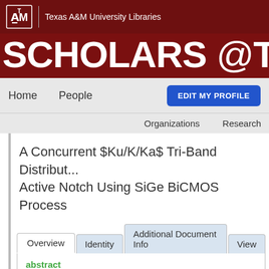[Figure (logo): Texas A&M University Libraries logo with ATM shield and text]
Texas A&M University Libraries
SCHOLARS @TAMU
Home   People   EDIT MY PROFILE   Organizations   Research   About
A Concurrent $Ku/K/Ka$ Tri-Band Distribut... Active Notch Using SiGe BiCMOS Process
Overview | Identity | Additional Document Info | View
abstract